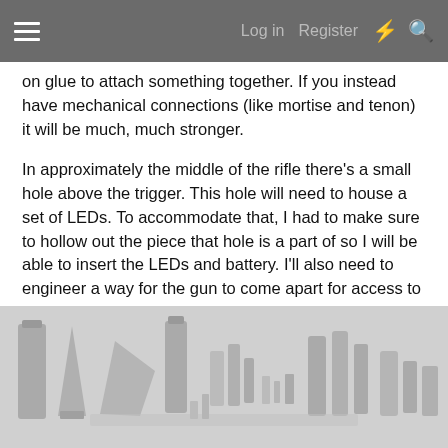Log in  Register
on glue to attach something together. If you instead have mechanical connections (like mortise and tenon) it will be much, much stronger.
In approximately the middle of the rifle there's a small hole above the trigger. This hole will need to house a set of LEDs. To accommodate that, I had to make sure to hollow out the piece that hole is a part of so I will be able to insert the LEDs and battery. I'll also need to engineer a way for the gun to come apart for access to that area, while making sure it does not weaken the structural integrity of the whole rifle.
Here are the 28 pieces and their likely orientation for printing:
[Figure (photo): 3D render of 28 rifle pieces arranged showing their likely printing orientation, displayed on a light gray background. The pieces are various shapes of gray 3D printed parts.]